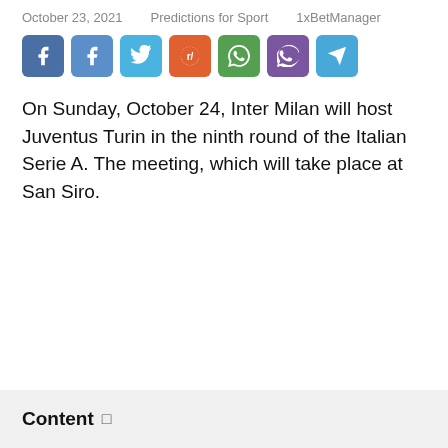October 23, 2021    Predictions for Sport    1xBetManager
[Figure (infographic): Row of 7 social share buttons: Facebook (blue), Facebook (light blue), Twitter (cyan), Reddit (orange), WhatsApp (green), Viber (purple), Telegram (blue)]
On Sunday, October 24, Inter Milan will host Juventus Turin in the ninth round of the Italian Serie A. The meeting, which will take place at San Siro.
Content